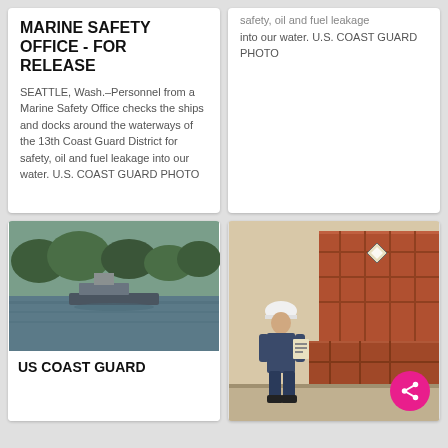MARINE SAFETY OFFICE - FOR RELEASE
SEATTLE, Wash.–Personnel from a Marine Safety Office checks the ships and docks around the waterways of the 13th Coast Guard District for safety, oil and fuel leakage into our water. U.S. COAST GUARD PHOTO
safety, oil and fuel leakage into our water. U.S. COAST GUARD PHOTO
[Figure (photo): Aerial or waterfront view showing boats/ships near docks on a waterway with green trees visible, blurred/low resolution image]
US COAST GUARD
[Figure (photo): A man wearing a white hard hat and blue uniform stands near large red/brown shipping containers, holding a clipboard and appearing to inspect cargo. Share button visible in corner.]